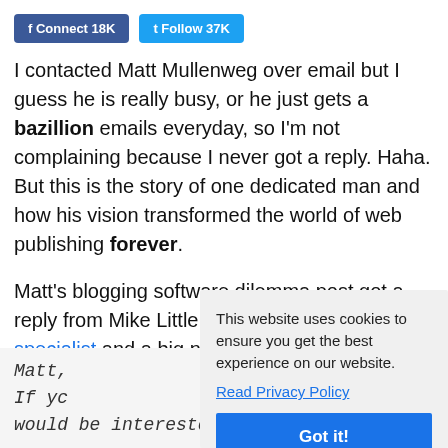[Figure (other): Social media buttons: Facebook Connect 18K and Twitter Follow 37K]
I contacted Matt Mullenweg over email but I guess he is really busy, or he just gets a bazillion emails everyday, so I'm not complaining because I never got a reply. Haha. But this is the story of one dedicated man and how his vision transformed the world of web publishing forever.
Matt's blogging software dilemma post got a reply from Mike Little, now a WordPress specialist and a big name in the WordPress community. In January 2...
[Figure (other): Cookie consent popup: 'This website uses cookies to ensure you get the best experience on our website. Read Privacy Policy' with Got it! button]
Matt,
If yo...
would be interested in contributing.